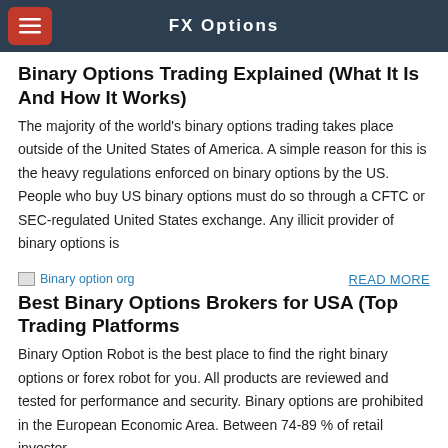FX Options
Binary Options Trading Explained (What It Is And How It Works)
The majority of the world's binary options trading takes place outside of the United States of America. A simple reason for this is the heavy regulations enforced on binary options by the US. People who buy US binary options must do so through a CFTC or SEC-regulated United States exchange. Any illicit provider of binary options is
[Figure (other): Image placeholder labeled 'Binary option org']
READ MORE
Best Binary Options Brokers for USA (Top Trading Platforms
Binary Option Robot is the best place to find the right binary options or forex robot for you. All products are reviewed and tested for performance and security. Binary options are prohibited in the European Economic Area. Between 74-89 % of retail investor